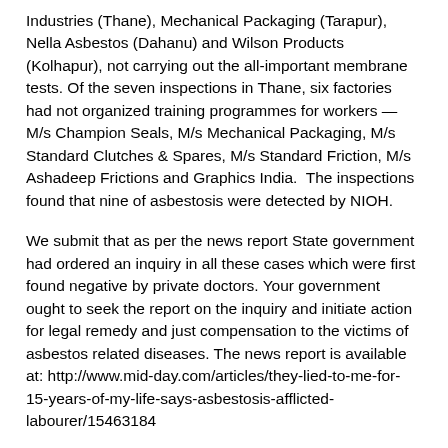Industries (Thane), Mechanical Packaging (Tarapur), Nella Asbestos (Dahanu) and Wilson Products (Kolhapur), not carrying out the all-important membrane tests. Of the seven inspections in Thane, six factories had not organized training programmes for workers — M/s Champion Seals, M/s Mechanical Packaging, M/s Standard Clutches & Spares, M/s Standard Friction, M/s Ashadeep Frictions and Graphics India.  The inspections found that nine of asbestosis were detected by NIOH.
We submit that as per the news report State government had ordered an inquiry in all these cases which were first found negative by private doctors. Your government ought to seek the report on the inquiry and initiate action for legal remedy and just compensation to the victims of asbestos related diseases. The news report is available at: http://www.mid-day.com/articles/they-lied-to-me-for-15-years-of-my-life-says-asbestosis-afflicted-labourer/15463184
We submit that these companies should be asked to switch non-asbestos materials in the light of the fact that more than 60 countries have banned white asbestos mineral fibers that